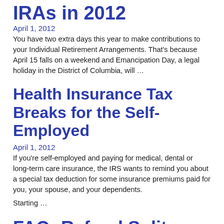IRAs in 2012
April 1, 2012
You have two extra days this year to make contributions to your Individual Retirement Arrangements. That's because April 15 falls on a weekend and Emancipation Day, a legal holiday in the District of Columbia, will …
Health Insurance Tax Breaks for the Self-Employed
April 1, 2012
If you're self-employed and paying for medical, dental or long-term care insurance, the IRS wants to remind you about a special tax deduction for some insurance premiums paid for you, your spouse, and your dependents.
Starting …
FAQ: Refund Splits